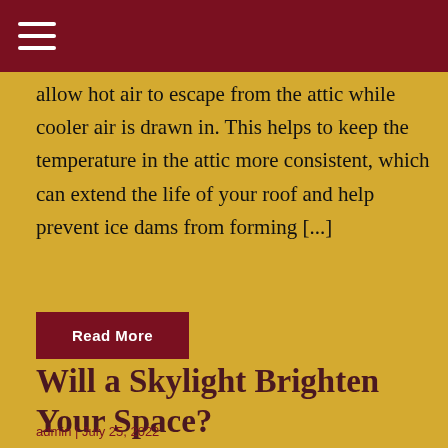≡
allow hot air to escape from the attic while cooler air is drawn in. This helps to keep the temperature in the attic more consistent, which can extend the life of your roof and help prevent ice dams from forming [...]
Read More
Will a Skylight Brighten Your Space?
admin | July 25, 2022
Skylights are modern and stylish, but will they brighten your home? The answer is a resounding